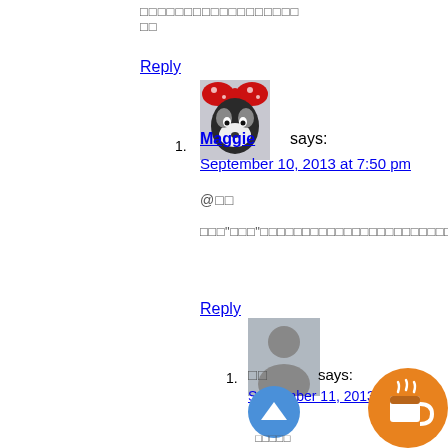□□□□□□□□□□□□□□□□□□ □□
Reply
[Figure (photo): Avatar image of a dog wearing a red polka-dot bow (Minnie Mouse style)]
1. Maggie says: September 10, 2013 at 7:50 pm
@□□
□□□"□□□"□□□□□□□□□□□□□□□□ □□□□□□□□□□□□□□□□□□□□□□□□□□□□□□□□□□□□□□□□□□□□□□□□□□□□□□□□□□□□□□□□□□□□
Reply
[Figure (photo): Generic grey silhouette avatar placeholder]
1. □□ says: September 11, 2013 at 3:26 pm
□□□□□